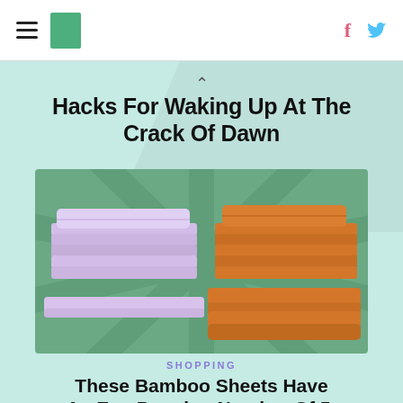HuffPost navigation — hamburger menu, logo, facebook and twitter icons
Hacks For Waking Up At The Crack Of Dawn
[Figure (photo): Two sets of folded bed sheets on a green starburst background — one lavender/purple set on the left, one orange/terracotta set on the right]
SHOPPING
These Bamboo Sheets Have An Eye-Popping Number Of 5-